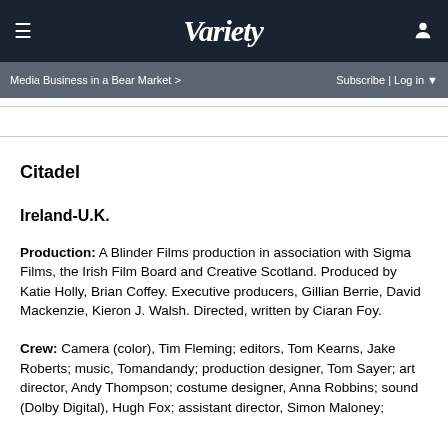VARIETY
Media Business in a Bear Market > | Subscribe | Log in
Citadel
Ireland-U.K.
Production: A Blinder Films production in association with Sigma Films, the Irish Film Board and Creative Scotland. Produced by Katie Holly, Brian Coffey. Executive producers, Gillian Berrie, David Mackenzie, Kieron J. Walsh. Directed, written by Ciaran Foy.
Crew: Camera (color), Tim Fleming; editors, Tom Kearns, Jake Roberts; music, Tomandandy; production designer, Tom Sayer; art director, Andy Thompson; costume designer, Anna Robbins; sound (Dolby Digital), Hugh Fox; assistant director, Simon Maloney;